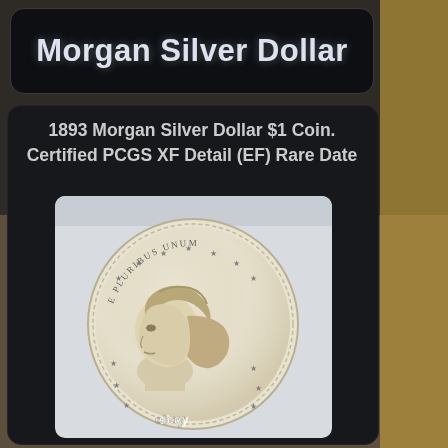Morgan Silver Dollar
1893 Morgan Silver Dollar $1 Coin. Certified PCGS XF Detail (EF) Rare Date
[Figure (photo): Photo of an 1893 Morgan Silver Dollar coin obverse, showing Lady Liberty profile, certified in a PCGS slab holder, with ebay watermark]